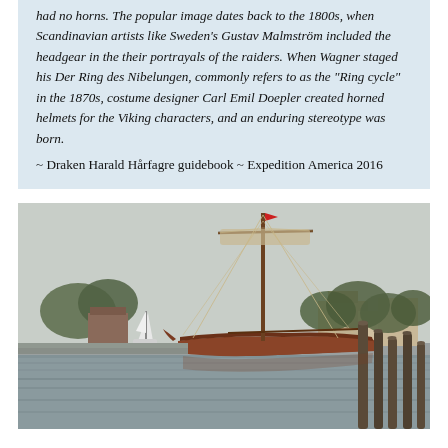had no horns. The popular image dates back to the 1800s, when Scandinavian artists like Sweden's Gustav Malmström included the headgear in the their portrayals of the raiders. When Wagner staged his Der Ring des Nibelungen, commonly refers to as the "Ring cycle" in the 1870s, costume designer Carl Emil Doepler created horned helmets for the Viking characters, and an enduring stereotype was born.
~ Draken Harald Hårfagre guidebook ~ Expedition America 2016
[Figure (photo): A large Viking longship with a tall wooden mast and rigging, moored at a harbor dock. The ship has a dark reddish-brown hull. Trees and buildings are visible in the background. Wooden dock pilings are in the foreground right. The sky is overcast and grey. Still water reflects the scene.]